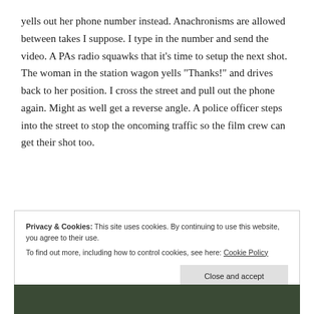yells out her phone number instead. Anachronisms are allowed between takes I suppose. I type in the number and send the video. A PAs radio squawks that it’s time to setup the next shot. The woman in the station wagon yells “Thanks!” and drives back to her position. I cross the street and pull out the phone again. Might as well get a reverse angle. A police officer steps into the street to stop the oncoming traffic so the film crew can get their shot too.
Privacy & Cookies: This site uses cookies. By continuing to use this website, you agree to their use.
To find out more, including how to control cookies, see here: Cookie Policy
[Figure (photo): Bottom strip showing a dark green outdoor scene, partial view of people or foliage]